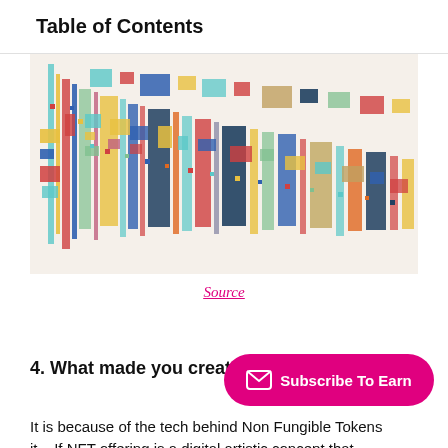Table of Contents
[Figure (illustration): Colorful fan/radial pattern of multicolored rectangles and squares on a light background, resembling a data visualization or digital art piece related to NFTs.]
Source
4. What made you create NFT
It is because of the tech behind Non Fungible Tokens it... If NFT offering is a digital artistic concept that...